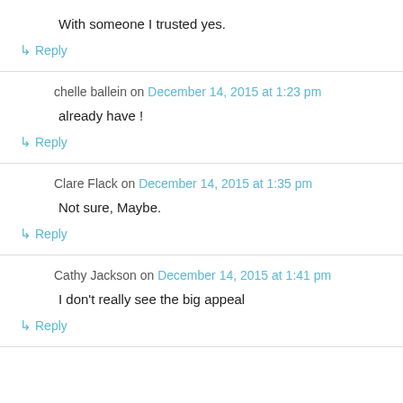With someone I trusted yes.
↳ Reply
chelle ballein on December 14, 2015 at 1:23 pm
already have !
↳ Reply
Clare Flack on December 14, 2015 at 1:35 pm
Not sure, Maybe.
↳ Reply
Cathy Jackson on December 14, 2015 at 1:41 pm
I don't really see the big appeal
↳ Reply